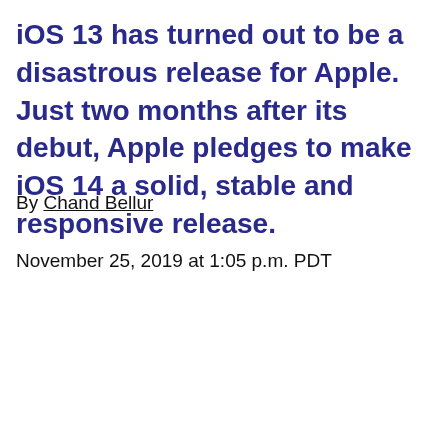iOS 13 has turned out to be a disastrous release for Apple. Just two months after its debut, Apple pledges to make iOS 14 a solid, stable and responsive release.
By Chand Bellur
November 25, 2019 at 1:05 p.m. PDT